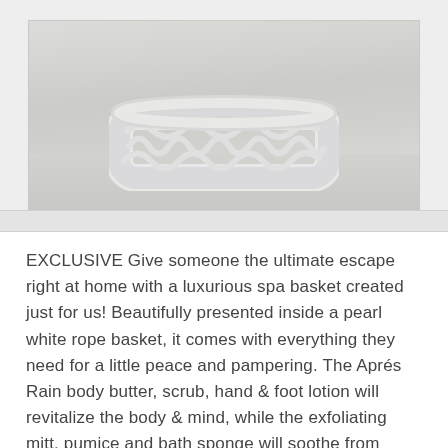[Figure (photo): A white braided/knotted rope basket photographed on a light grey wooden floor surface. The basket has a chunky woven texture made of thick white rope. The image is cropped showing only the lower portion of the basket.]
EXCLUSIVE Give someone the ultimate escape right at home with a luxurious spa basket created just for us! Beautifully presented inside a pearl white rope basket, it comes with everything they need for a little peace and pampering. The Aprés Rain body butter, scrub, hand & foot lotion will revitalize the body & mind, while the exfoliating mitt, pumice and bath sponge will soothe from head to